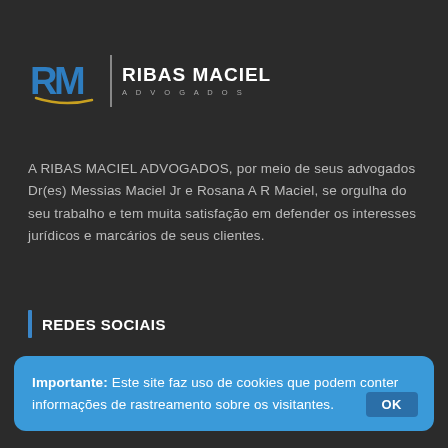[Figure (logo): Ribas Maciel Advogados logo with stylized RM letters in blue and gold, vertical divider, and firm name text]
A RIBAS MACIEL ADVOGADOS, por meio de seus advogados Dr(es) Messias Maciel Jr e Rosana A R Maciel, se orgulha do seu trabalho e tem muita satisfação em defender os interesses jurídicos e marcários de seus clientes.
REDES SOCIAIS
Importante: Este site faz uso de cookies que podem conter informações de rastreamento sobre os visitantes.